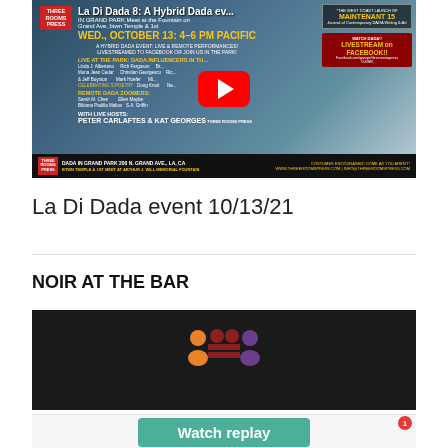[Figure (screenshot): YouTube video thumbnail for 'La Di Dada 8: A Hybrid Dada ev...' event at Grand Park, Wed October 13, 4-6 PM Pacific. Shows event flyer with performers including Linda J. Albertano, Mona Jean Cedar & Jeff Boynton, Rich Ferguson, Christian Georgescu, Mark Hoefer, Doug Knott, Sarah M. Chen, Bibiana Padilla Maltos, Ellen Maybe, S.A. Griffin, hosted by Peter Carlaftes & Kat Georges. Red YouTube play button overlay.]
La Di Dada event 10/13/21
[Figure (screenshot): Embedded video/event widget for 'NOIR AT THE BAR' showing a dark background with Meetup-style people icons in orange, dark red/maroon, and purple colors, with a 'Watch replay' green button at the bottom.]